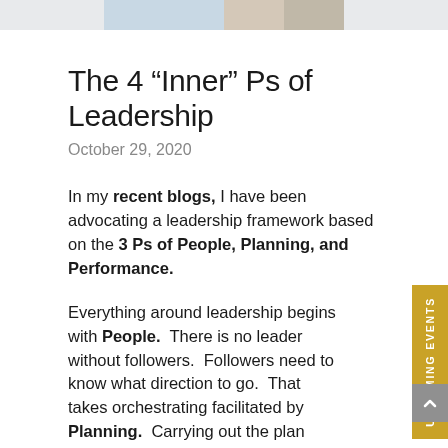[Figure (photo): Partial photo strip at top of page showing people in a professional/leadership context]
The 4 “Inner” Ps of Leadership
October 29, 2020
In my recent blogs, I have been advocating a leadership framework based on the 3 Ps of People, Planning, and Performance.
Everything around leadership begins with People. There is no leader without followers. Followers need to know what direction to go. That takes orchestrating facilitated by Planning. Carrying out the plan requires integrating and executing to